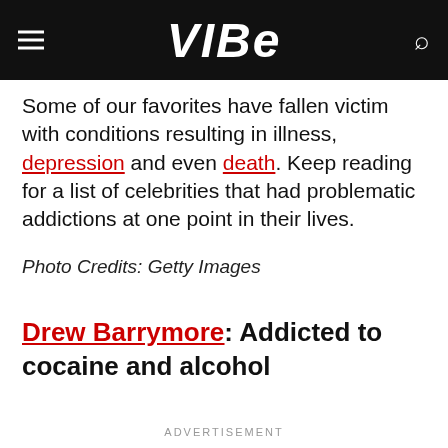VIBE
Some of our favorites have fallen victim with conditions resulting in illness, depression and even death. Keep reading for a list of celebrities that had problematic addictions at one point in their lives.
Photo Credits: Getty Images
Drew Barrymore: Addicted to cocaine and alcohol
ADVERTISEMENT